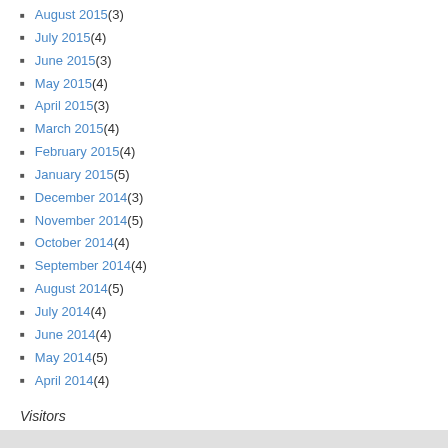August 2015 (3)
July 2015 (4)
June 2015 (3)
May 2015 (4)
April 2015 (3)
March 2015 (4)
February 2015 (4)
January 2015 (5)
December 2014 (3)
November 2014 (5)
October 2014 (4)
September 2014 (4)
August 2014 (5)
July 2014 (4)
June 2014 (4)
May 2014 (5)
April 2014 (4)
Visitors
49,588 Views
Gallagher's Pen ~